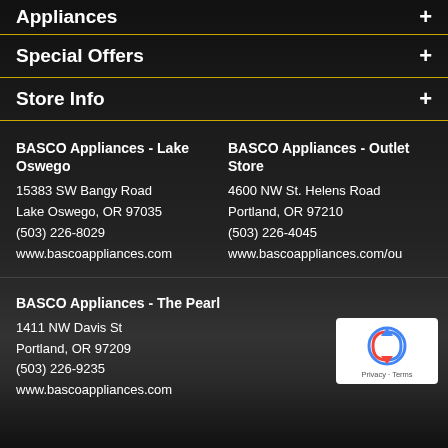Appliances
Special Offers
Store Info
BASCO Appliances - Lake Oswego
15383 SW Bangy Road
Lake Oswego, OR 97035
(503) 226-8029
www.bascoappliances.com
BASCO Appliances - Outlet Store
4600 NW St. Helens Road
Portland, OR 97210
(503) 226-4045
www.bascoappliances.com/ou
BASCO Appliances - The Pearl
1411 NW Davis St
Portland, OR 97209
(503) 226-9235
www.bascoappliances.com
[Figure (logo): Google reCAPTCHA badge with Privacy and Terms links]